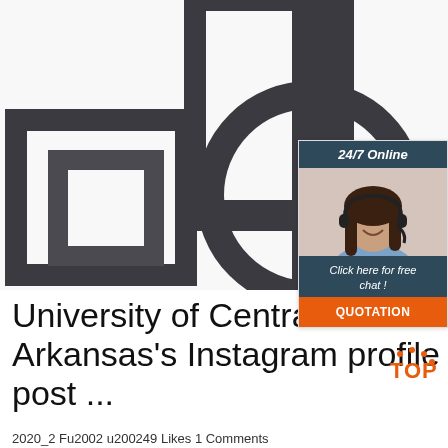[Figure (photo): Photo of decorative dark gray geometric frames and shapes (squares, rectangle, octagon/circle ring) arranged on white background]
[Figure (infographic): Sidebar advertisement: '24/7 Online' header in dark teal, photo of smiling woman with headset, 'Click here for free chat!' text, and orange 'QUOTATION' button]
[Figure (logo): TOP logo with orange dots in bottom right corner]
University of Central Arkansas's Instagram profile post ...
2020_2 Fu2002 u200249 Likes 1 Comments